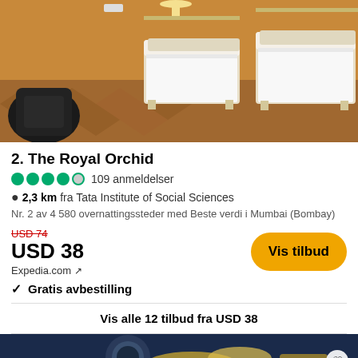[Figure (photo): Hotel room interior with two single beds with white linens, wooden parquet floor, orange/warm-toned walls, and luggage on the floor.]
2. The Royal Orchid
4 filled circles and 1 empty circle rating · 109 anmeldelser
2,3 km fra Tata Institute of Social Sciences
Nr. 2 av 4 580 overnattingssteder med Beste verdi i Mumbai (Bombay)
USD 74 (strikethrough) USD 38 Expedia.com ↗
Vis tilbud
✓ Gratis avbestilling
Vis alle 12 tilbud fra USD 38
[Figure (photo): Partial view of another hotel listing photo at bottom of page, showing what appears to be a blue and gold interior.]